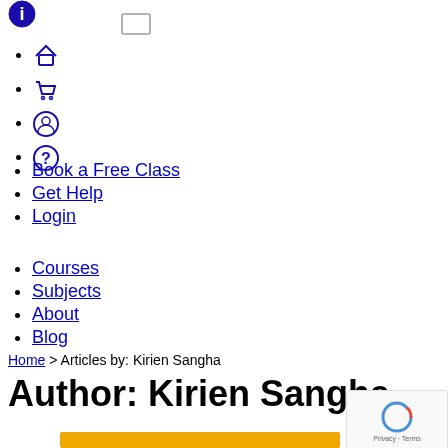🏠 (home icon)
🛒 (cart icon)
👤 (account icon)
❓ (help icon)
Book a Free Class
Get Help
Login
Courses
Subjects
About
Blog
Home > Articles by: Kirien Sangha
Author: Kirien Sangha